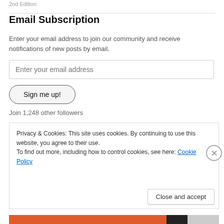2nd Edition
Email Subscription
Enter your email address to join our community and receive notifications of new posts by email.
Enter your email address
Sign me up!
Join 1,248 other followers
Privacy & Cookies: This site uses cookies. By continuing to use this website, you agree to their use.
To find out more, including how to control cookies, see here: Cookie Policy
Close and accept